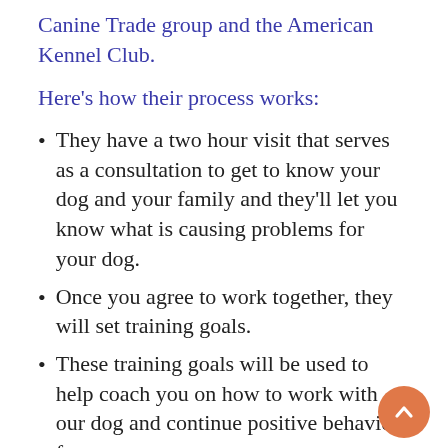Canine Trade group and the American Kennel Club.
Here's how their process works:
They have a two hour visit that serves as a consultation to get to know your dog and your family and they'll let you know what is causing problems for your dog.
Once you agree to work together, they will set training goals.
These training goals will be used to help coach you on how to work with our dog and continue positive behavior for years to come.
To learn more about Raise the Bar and